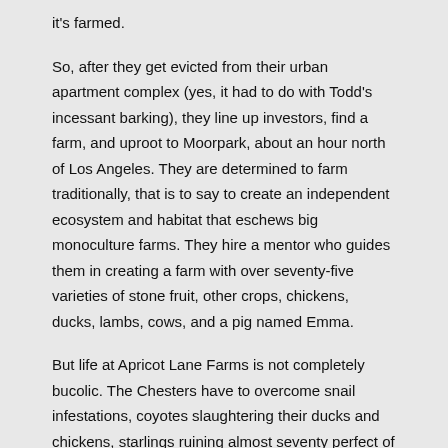it's farmed.

So, after they get evicted from their urban apartment complex (yes, it had to do with Todd's incessant barking), they line up investors, find a farm, and uproot to Moorpark, about an hour north of Los Angeles. They are determined to farm traditionally, that is to say to create an independent ecosystem and habitat that eschews big monoculture farms. They hire a mentor who guides them in creating a farm with over seventy-five varieties of stone fruit, other crops, chickens, ducks, lambs, cows, and a pig named Emma.

But life at Apricot Lane Farms is not completely bucolic. The Chesters have to overcome snail infestations, coyotes slaughtering their ducks and chickens, starlings ruining almost seventy perfect of their stone fruit crops, a pig with mastitis, and so much more. But as the years progress, so does their farm. They successfully build the life of their dreams...and an amazing, working farm where solutions organically present themselves. An example was a shot of an aphid infestation. Right next to the aphids were ladybug eggs, aphids' natural predators. Remember in the movie Jurassic Park when Jeff Goldblum's character says, "Life will find a way." I think this movie is summed up with "Nature will find a way." And it will find a way a lot quicker without our "heroic"